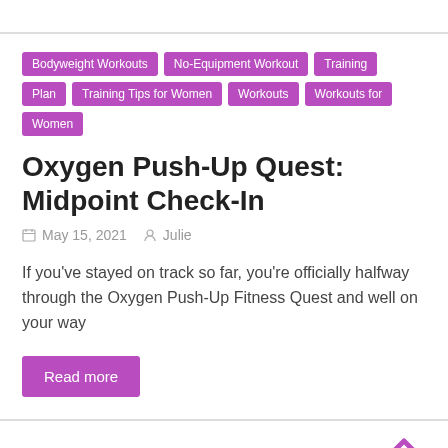Bodyweight Workouts
No-Equipment Workout
Training Plan
Training Tips for Women
Workouts
Workouts for Women
Oxygen Push-Up Quest: Midpoint Check-In
May 15, 2021   Julie
If you've stayed on track so far, you're officially halfway through the Oxygen Push-Up Fitness Quest and well on your way
Read more
Home Workouts
Total Body